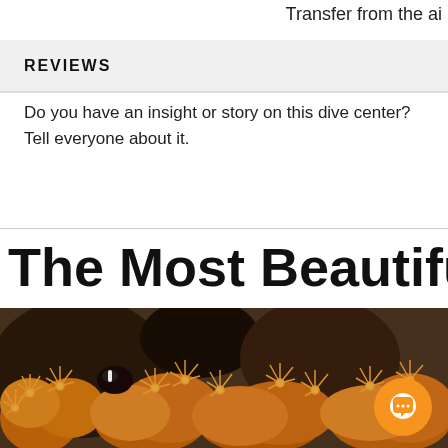Transfer from the ai
REVIEWS
Do you have an insight or story on this dive center? Tell everyone about it.
The Most Beautiful Dive Sit
[Figure (photo): Close-up underwater photo of orange/golden coral polyps with anemone-like tentacles, with a dark rocky background]